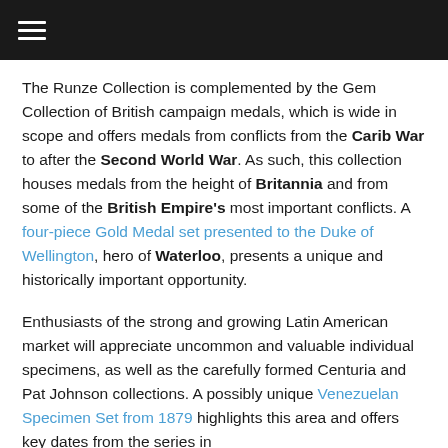≡
The Runze Collection is complemented by the Gem Collection of British campaign medals, which is wide in scope and offers medals from conflicts from the Carib War to after the Second World War. As such, this collection houses medals from the height of Britannia and from some of the British Empire's most important conflicts. A four-piece Gold Medal set presented to the Duke of Wellington, hero of Waterloo, presents a unique and historically important opportunity.
Enthusiasts of the strong and growing Latin American market will appreciate uncommon and valuable individual specimens, as well as the carefully formed Centuria and Pat Johnson collections. A possibly unique Venezuelan Specimen Set from 1879 highlights this area and offers key dates from the series in